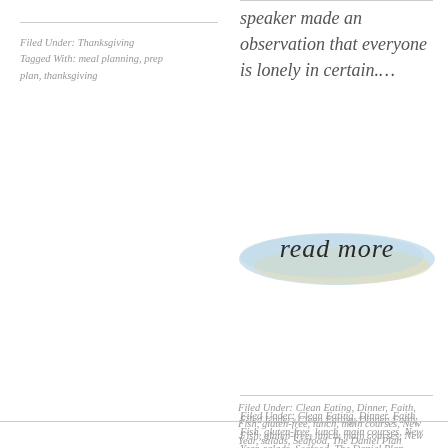Filed Under: Thanksgiving
Tagged With: meal planning, prep plan, thanksgiving
speaker made an observation that everyone is lonely in certain....
[Figure (illustration): Read more button with blue and yellow watercolor background and cursive text 'read more']
Filed Under: Clean Eating, Dinner, Faith, Fish, gluten-free, lunch, main courses, New Year, salads, Seafood, The Daniel Plan
Tagged With: Daniel Plan Recipe, dill, flax seed oil, friends, salmon salad, The Daniel Plan